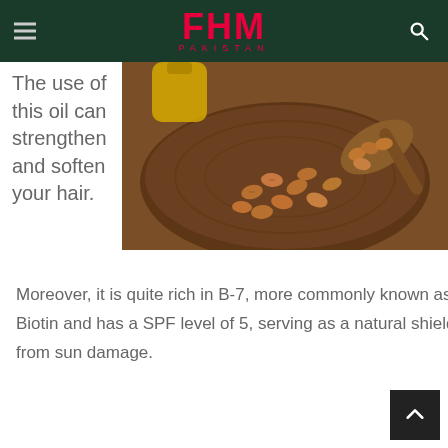FHM PAKISTAN
The use of this oil can strengthen and soften your hair.
[Figure (photo): Almonds and almond oil in a wooden bowl and spoon on a wooden surface]
Moreover, it is quite rich in B-7, more commonly known as Biotin and has a SPF level of 5, serving as a natural shield from sun damage.